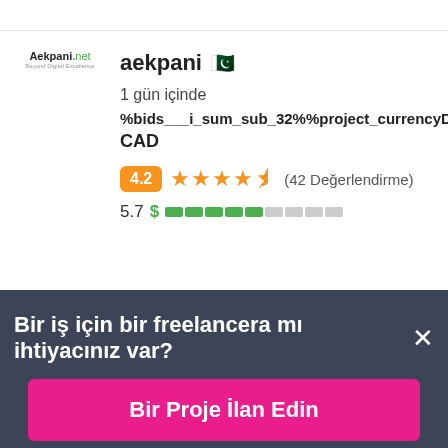[Figure (logo): Aekpani.net logo with orange and green text]
aekpani 🇵🇰
1 gün içinde
%bids___i_sum_sub_32%%project_currencyD
CAD
4.2 ★★★★½ (42 Değerlendirme)
5.7 $ ▓▓▓▓▓░░░░
Bir iş için bir freelancera mı ihtiyacınız var? ×
Bir Proje İlan Edin